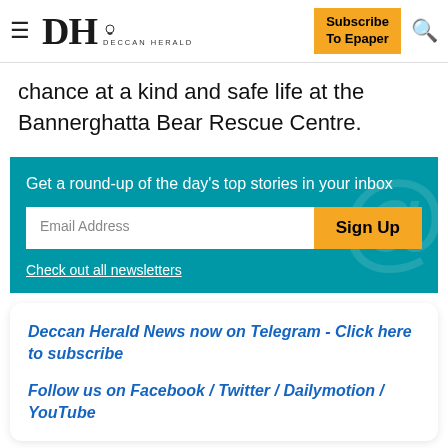DH DECCAN HERALD | Subscribe To Epaper
chance at a kind and safe life at the Bannerghatta Bear Rescue Centre.
Get a round-up of the day's top stories in your inbox
Email Address | Sign Up
Check out all newsletters
Deccan Herald News now on Telegram - Click here to subscribe
Follow us on Facebook / Twitter / Dailymotion / YouTube
[Figure (screenshot): THE PERSPECTIVE advertisement banner reading SEE WHAT YOU'RE MISSING with READ MORE button]